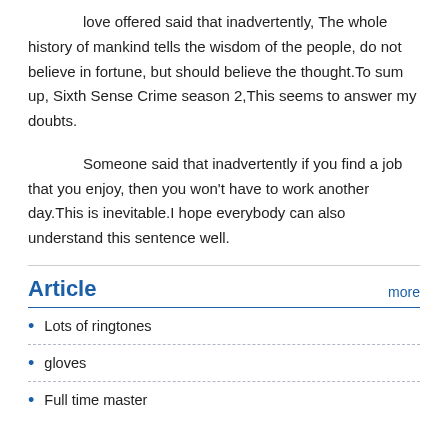love offered said that inadvertently, The whole history of mankind tells the wisdom of the people, do not believe in fortune, but should believe the thought.To sum up, Sixth Sense Crime season 2,This seems to answer my doubts.
Someone said that inadvertently if you find a job that you enjoy, then you won't have to work another day.This is inevitable.I hope everybody can also understand this sentence well.
Article
Lots of ringtones
gloves
Full time master